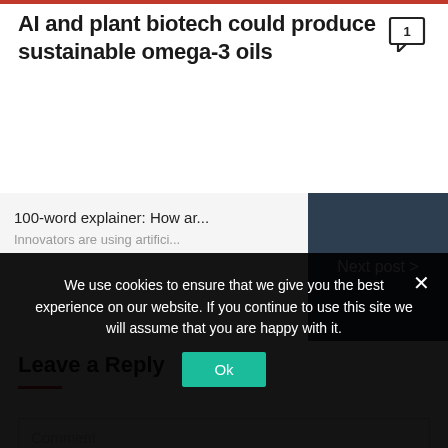AI and plant biotech could produce sustainable omega-3 oils
[Figure (other): Comment icon with number 1 badge]
100-word explainer: How ar...
Innovators are using artifici...
Next post >
Leave a Reply
Comment
We use cookies to ensure that we give you the best experience on our website. If you continue to use this site we will assume that you are happy with it.